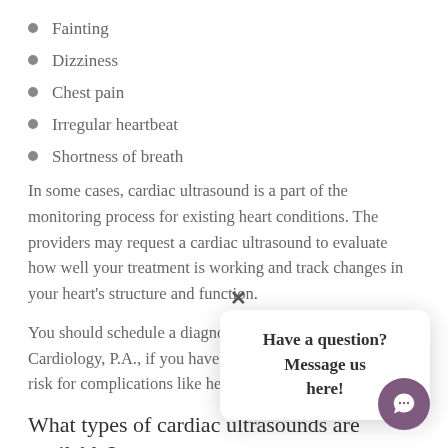Fainting
Dizziness
Chest pain
Irregular heartbeat
Shortness of breath
In some cases, cardiac ultrasound is a part of the monitoring process for existing heart conditions. The providers may request a cardiac ultrasound to evaluate how well your treatment is working and track changes in your heart's structure and function.
You should schedule a diagnostic cardiac ultrasound at Cardiology, P.A., if you have any symptoms that put you at risk for complications like heart attack and stroke.
What types of cardiac ultrasounds are available?